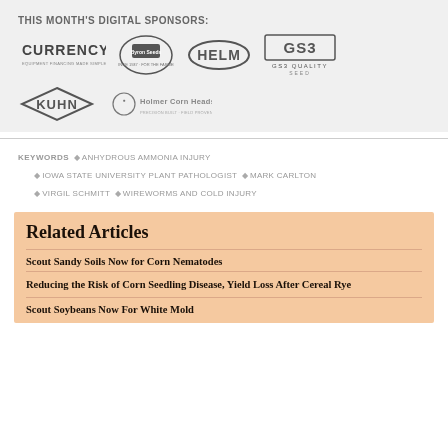THIS MONTH'S DIGITAL SPONSORS:
[Figure (logo): Logos of digital sponsors: Currency, Byron Seeds, Helm, GS3 Quality Seed, Kuhn, Holmer Corn Heads]
KEYWORDS  ♦ ANHYDROUS AMMONIA INJURY  ♦ IOWA STATE UNIVERSITY PLANT PATHOLOGIST  ♦ MARK CARLTON  ♦ VIRGIL SCHMITT  ♦ WIREWORMS AND COLD INJURY
Related Articles
Scout Sandy Soils Now for Corn Nematodes
Reducing the Risk of Corn Seedling Disease, Yield Loss After Cereal Rye
Scout Soybeans Now For White Mold